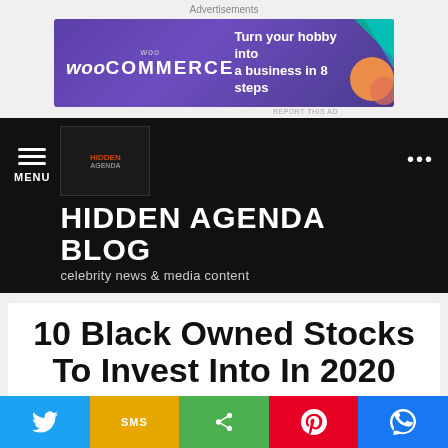Advertisements
[Figure (screenshot): WooCommerce banner ad: purple background with WooCommerce logo on left and text 'Turn your hobby into a business in 8 steps' on right with decorative shapes]
[Figure (logo): Hidden Agenda Blog logo - dark square with orange and white text]
HIDDEN AGENDA BLOG
celebrity news & media content
10 Black Owned Stocks To Invest Into In 2020
[Figure (infographic): Social sharing bar with Twitter, SMS, Share, Pinterest, and Messenger buttons]